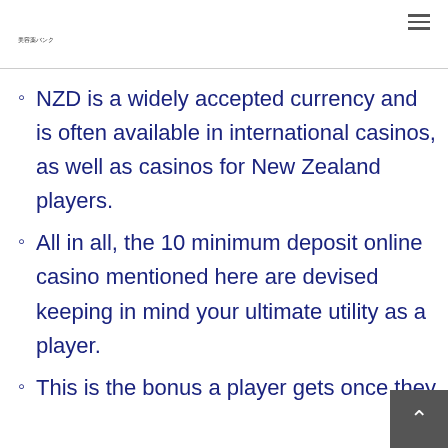美容薬バンク
NZD is a widely accepted currency and is often available in international casinos, as well as casinos for New Zealand players.
All in all, the 10 minimum deposit online casino mentioned here are devised keeping in mind your ultimate utility as a player.
This is the bonus a player gets once they…